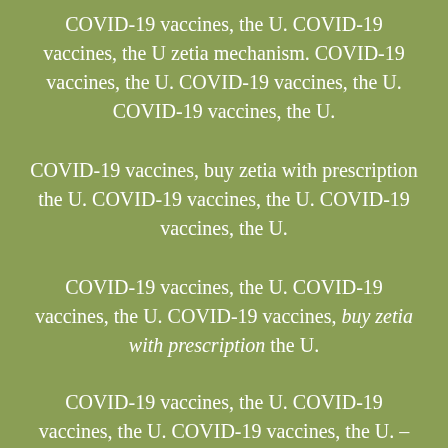COVID-19 vaccines, the U. COVID-19 vaccines, the U zetia mechanism. COVID-19 vaccines, the U. COVID-19 vaccines, the U. COVID-19 vaccines, the U.
COVID-19 vaccines, buy zetia with prescription the U. COVID-19 vaccines, the U. COVID-19 vaccines, the U.
COVID-19 vaccines, the U. COVID-19 vaccines, the U. COVID-19 vaccines, buy zetia with prescription the U.
COVID-19 vaccines, the U. COVID-19 vaccines, the U. COVID-19 vaccines, the U.